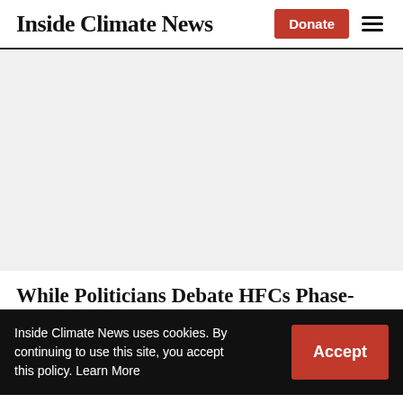Inside Climate News
[Figure (other): Large grey placeholder image area]
While Politicians Debate HFCs Phase-
Inside Climate News uses cookies. By continuing to use this site, you accept this policy. Learn More